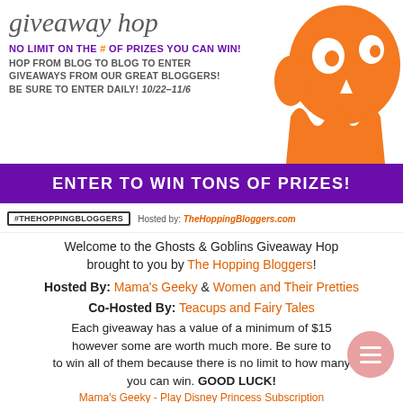giveaway hop
NO LIMIT ON THE # OF PRIZES YOU CAN WIN! HOP FROM BLOG TO BLOG TO ENTER GIVEAWAYS FROM OUR GREAT BLOGGERS! BE SURE TO ENTER DAILY! 10/22-11/6
[Figure (illustration): Orange ghost/goblin character graphic on right side of banner]
ENTER TO WIN TONS OF PRIZES!
#THEHOPPINGBLOGGERS Hosted by: TheHoppingBloggers.com
Welcome to the Ghosts & Goblins Giveaway Hop brought to you by The Hopping Bloggers!
Hosted By: Mama's Geeky & Women and Their Pretties
Co-Hosted By: Teacups and Fairy Tales
Each giveaway has a value of a minimum of $15 however some are worth much more. Be sure to win all of them because there is no limit to how many you can win. GOOD LUCK!
Mama's Geeky - Play Disney Princess Subscription